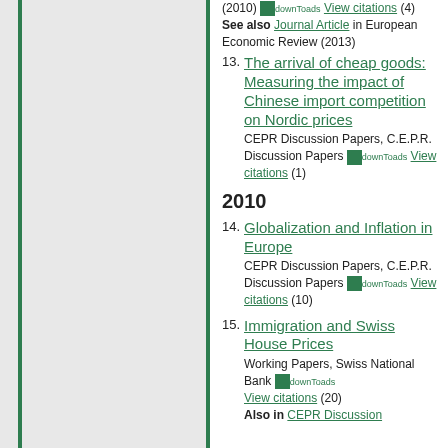(2010) downloads View citations (4)
See also Journal Article in European Economic Review (2013)
13. The arrival of cheap goods: Measuring the impact of Chinese import competition on Nordic prices
CEPR Discussion Papers, C.E.P.R. Discussion Papers downloads View citations (1)
2010
14. Globalization and Inflation in Europe
CEPR Discussion Papers, C.E.P.R. Discussion Papers downloads View citations (10)
15. Immigration and Swiss House Prices
Working Papers, Swiss National Bank downloads View citations (20)
Also in CEPR Discussion